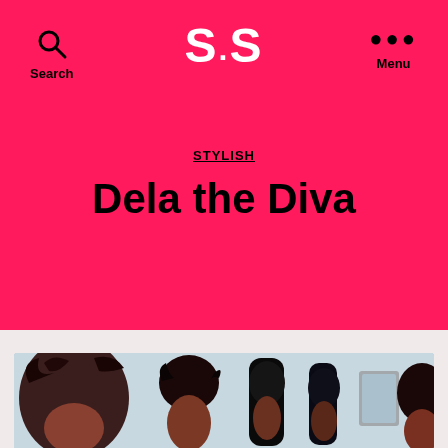S.S — Stylish blog header with Search and Menu navigation
STYLISH
Dela the Diva
By Sasy Scarborough  2008-05-06  36 Comments
[Figure (photo): A row of Second Life avatar hairstyle photos showing dark-haired female avatars with various hairstyles]